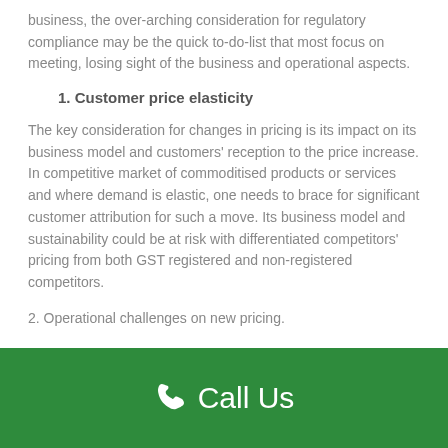business, the over-arching consideration for regulatory compliance may be the quick to-do-list that most focus on meeting, losing sight of the business and operational aspects.
1. Customer price elasticity
The key consideration for changes in pricing is its impact on its business model and customers' reception to the price increase. In competitive market of commoditised products or services and where demand is elastic, one needs to brace for significant customer attribution for such a move. Its business model and sustainability could be at risk with differentiated competitors' pricing from both GST registered and non-registered competitors.
2. Operational challenges on new pricing.
Call Us